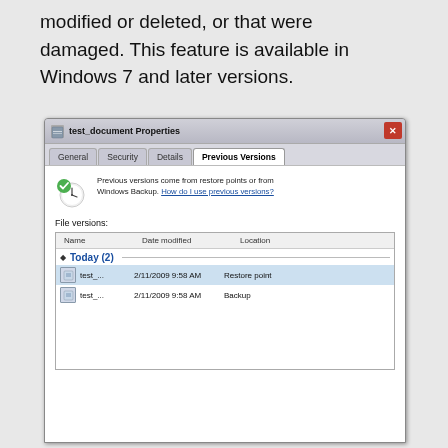modified or deleted, or that were damaged. This feature is available in Windows 7 and later versions.
[Figure (screenshot): Windows 7 'test_document Properties' dialog showing the 'Previous Versions' tab. The tab displays file versions with two entries under 'Today (2)': test_ dated 2/11/2009 9:58 AM from Restore point (selected, highlighted in blue), and test_ dated 2/11/2009 9:58 AM from Backup. There is an icon of a clock with a green check, and text explaining previous versions come from restore points or Windows Backup with a link 'How do I use previous versions?']